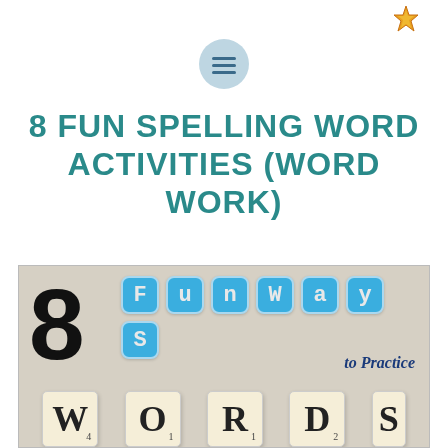[Figure (logo): Small decorative logo in top right corner, appears to be a star/flower shape in orange/gold color]
[Figure (illustration): Hamburger menu icon: a light blue circle with three dark horizontal lines]
8 FUN SPELLING WORD ACTIVITIES (WORD WORK)
[Figure (photo): Promotional image on a wooden/gray background showing a large black '8', colorful blue bubble letters spelling 'fun ways', italic text 'to Practice', and Scrabble tile letters spelling W, O, R, D, S at the bottom]